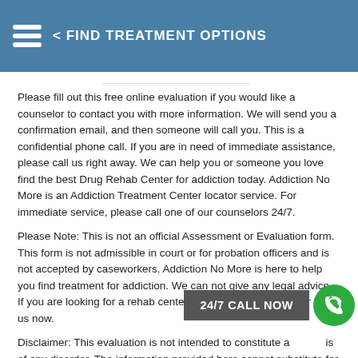< FIND TREATMENT OPTIONS
Please fill out this free online evaluation if you would like a counselor to contact you with more information. We will send you a confirmation email, and then someone will call you. This is a confidential phone call. If you are in need of immediate assistance, please call us right away. We can help you or someone you love find the best Drug Rehab Center for addiction today. Addiction No More is an Addiction Treatment Center locator service. For immediate service, please call one of our counselors 24/7.
Please Note: This is not an official Assessment or Evaluation form. This form is not admissible in court or for probation officers and is not accepted by caseworkers. Addiction No More is here to help you find treatment for addiction. We can not give any legal advice. If you are looking for a rehab center please fill out this form or call us now.
Disclaimer: This evaluation is not intended to constitute a diagnosis of any disorder. The information provided here cannot substitute for